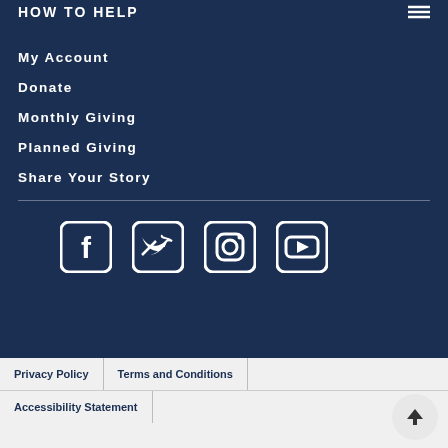HOW TO HELP
My Account
Donate
Monthly Giving
Planned Giving
Share Your Story
[Figure (illustration): Social media icons: Facebook, Twitter, Instagram, YouTube]
Privacy Policy | Terms and Conditions | Accessibility Statement